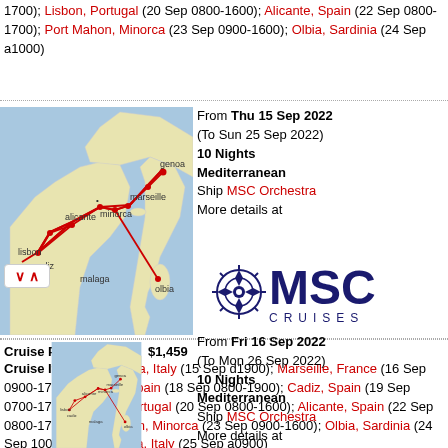1700); Lisbon, Portugal (20 Sep 0800-1600); Alicante, Spain (22 Sep 0800-1700); Port Mahon, Minorca (23 Sep 0900-1600); Olbia, Sardinia (24 Sep a1000)
[Figure (map): Mediterranean cruise route map showing Genoa, Marseille, Alicante, Minorca, Cadiz, Lisbon, Malaga, Olbia connected by red route line]
From Thu 15 Sep 2022 (To Sun 25 Sep 2022) 10 Nights Mediterranean Ship MSC Orchestra More details at
[Figure (logo): MSC Cruises logo with compass/sun emblem and bold MSC lettering in navy blue]
Cruise Prices ? From $1,459
Cruise Itinerary: Genoa, Italy (15 Sep d1900); Marseille, France (16 Sep 0900-1700); Malaga, Spain (18 Sep 0800-1900); Cadiz, Spain (19 Sep 0700-1700); Lisbon, Portugal (20 Sep 0800-1600); Alicante, Spain (22 Sep 0800-1700); Port Mahon, Minorca (23 Sep 0900-1600); Olbia, Sardinia (24 Sep 1000-1800); Genoa, Italy (25 Sep a0900)
[Figure (map): Mediterranean cruise route map showing Genoa, Marseille, Alicante, Minorca, Cadiz, Lisbon, Malaga, Olbia connected by red route line (second cruise)]
From Fri 16 Sep 2022 (To Mon 26 Sep 2022) 10 Nights Mediterranean Ship MSC Orchestra More details at